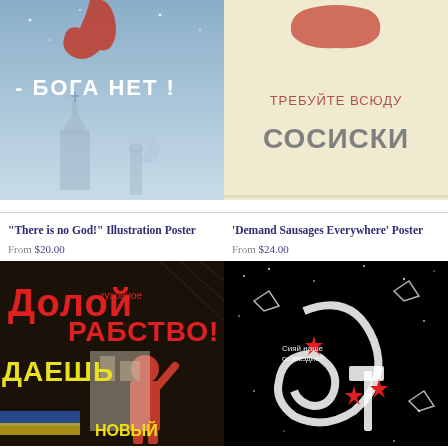[Figure (illustration): Soviet atheist propaganda poster with Russian text '- БОГА НЕТ!' (There is no God!) showing churches and stars on blue background]
[Figure (illustration): Soviet poster with Russian text 'ТРЕБУЙТЕ ВСЮДУ СОСИСКИ' (Demand Sausages Everywhere) in red and gray on cream background]
"There is no God!" Illustration Poster
From $20.00
'Demand Sausages Everywhere' Poster
From $24.00
[Figure (illustration): Soviet poster 'Долой кухонное рабство!' (Down with kitchen slavery!) showing woman in red dress with raised arm]
[Figure (illustration): Soviet space poster 'Сияй наше созвездие!' (Shine our constellation!) showing hammer and sickle formed by stars and spacecraft on black background]